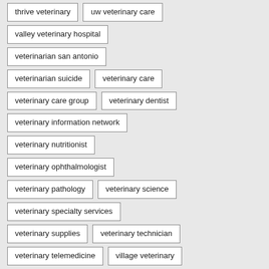thrive veterinary
uw veterinary care
valley veterinary hospital
veterinarian san antonio
veterinarian suicide
veterinary care
veterinary care group
veterinary dentist
veterinary information network
veterinary nutritionist
veterinary ophthalmologist
veterinary pathology
veterinary science
veterinary specialty services
veterinary supplies
veterinary technician
veterinary telemedicine
village veterinary
vista veterinary specialists